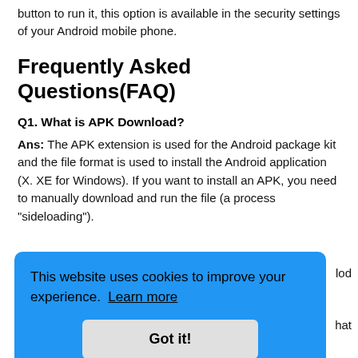button to run it, this option is available in the security settings of your Android mobile phone.
Frequently Asked Questions(FAQ)
Q1. What is APK Download?
Ans: The APK extension is used for the Android package kit and the file format is used to install the Android application (X. XE for Windows). If you want to install an APK, you need to manually download and run the file (a process "sideloading").
[Figure (screenshot): Cookie consent overlay banner in blue with text 'This website uses cookies to improve your experience. Learn more' and a 'Got it!' button. Partially overlapping page content showing 'lod' and 'hat' text fragments on the right.]
digital Trojan horse to install and operate the mover